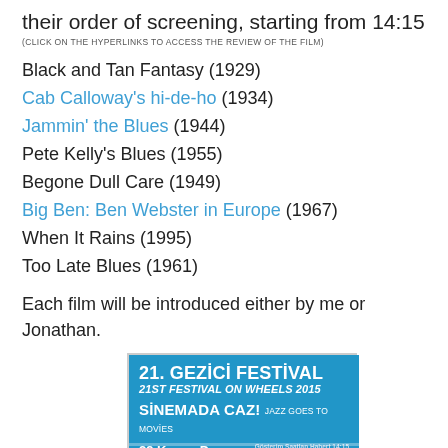their order of screening, starting from 14:15
(CLICK ON THE HYPERLINKS TO ACCESS THE REVIEW OF THE FILM)
Black and Tan Fantasy (1929)
Cab Calloway's hi-de-ho (1934)
Jammin' the Blues (1944)
Pete Kelly's Blues (1955)
Begone Dull Care (1949)
Big Ben: Ben Webster in Europe (1967)
When It Rains (1995)
Too Late Blues (1961)
Each film will be introduced either by me or Jonathan.
[Figure (photo): Promotional poster for 21. Gezici Festival / 21st Festival on Wheels 2015, Sinemada Caz! Jazz Goes to Movies, 29 Kasim Pazar, starting 14:15, blue background with white stripes and silhouette]